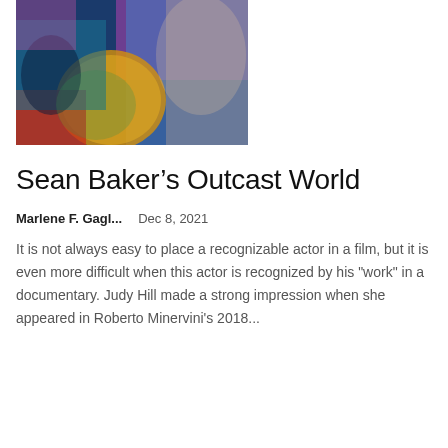[Figure (photo): Colorful collage/montage image featuring multiple people with vibrant colors including blues, purples, oranges, and reds — appears to be a film-related promotional image]
Sean Baker’s Outcast World
Marlene F. Gagl...    Dec 8, 2021
It is not always easy to place a recognizable actor in a film, but it is even more difficult when this actor is recognized by his "work" in a documentary. Judy Hill made a strong impression when she appeared in Roberto Minervini's 2018...